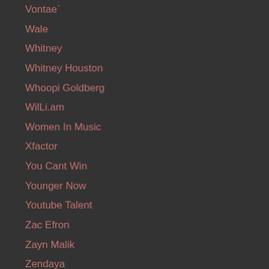Vontae`
Wale
Whitney
Whitney Houston
Whoopi Goldberg
WilLi.am
Women In Music
Xfactor
You Cant Win
Younger Now
Youtube Talent
Zac Efron
Zayn Malik
Zendaya
RSS Feed
Version: Mobile | Web
Created with Weebly  Get the App